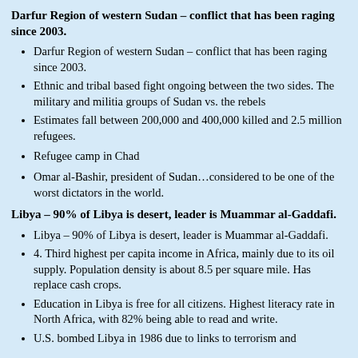Darfur Region of western Sudan – conflict that has been raging since 2003.
Darfur Region of western Sudan – conflict that has been raging since 2003.
Ethnic and tribal based fight ongoing between the two sides. The military and militia groups of Sudan vs. the rebels
Estimates fall between 200,000 and 400,000 killed and 2.5 million refugees.
Refugee camp in Chad
Omar al-Bashir, president of Sudan…considered to be one of the worst dictators in the world.
Libya – 90% of Libya is desert, leader is Muammar al-Gaddafi.
Libya – 90% of Libya is desert, leader is Muammar al-Gaddafi.
4. Third highest per capita income in Africa, mainly due to its oil supply. Population density is about 8.5 per square mile. Has replace cash crops.
Education in Libya is free for all citizens. Highest literacy rate in North Africa, with 82% being able to read and write.
U.S. bombed Libya in 1986 due to links to terrorism and